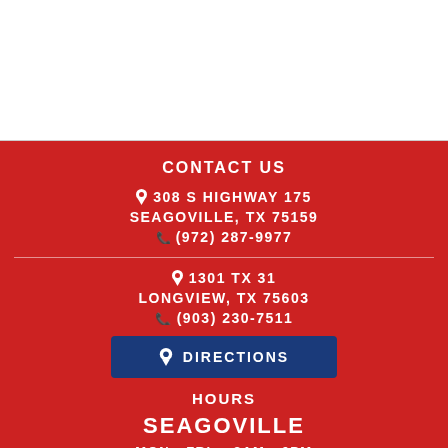CONTACT US
📍 308 S HIGHWAY 175
SEAGOVILLE, TX 75159
📞 (972) 287-9977
📍 1301 TX 31
LONGVIEW, TX 75603
📞 (903) 230-7511
📍 DIRECTIONS
HOURS
SEAGOVILLE
MON - FRI:    8AM - 6PM